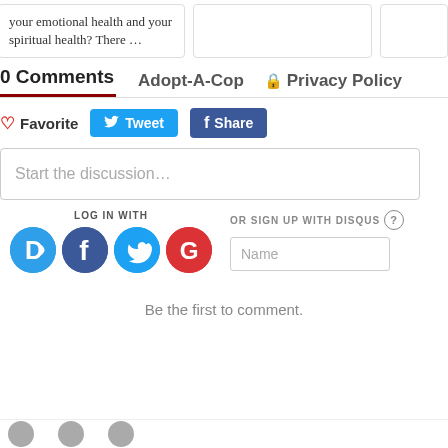your emotional health and your spiritual health?  There …
0 Comments   Adopt-A-Cop   Privacy Policy
♡ Favorite   Tweet   Share
Start the discussion…
LOG IN WITH
OR SIGN UP WITH DISQUS
Name
Be the first to comment.